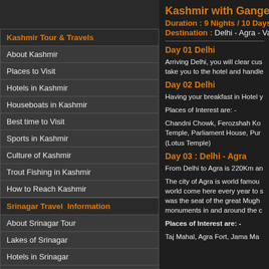Kashmir Tour & Travels
About Kashmir
Places to Visit
Hotels in Kashmir
Houseboats in Kashmir
Best time to Visit
Sports in Kashmir
Culture of Kashmir
Trout Fishing in Kashmir
How to Reach Kashmir
Srinagar Travel  Information
About Srinagar Tour
Lakes of Srinagar
Hotels in Srinagar
Houseboats in Srinagar
Gulmarg Skiing and Travel Information
About Gulmarg Tour
Sports in Gulmarg
Hotels in Gulmarg
Trekking in Gulmarg
Kashmir with Ganges T
Duration : 9 Nights / 10 Days
Destination : Delhi - Agra - Vara
Day 01 Delhi
Arriving Delhi, you will clear cus take you to the hotel and handle
Day 02 Delhi
Having your breakfast in Hotel y
Places of Interest are: -
Chandni Chowk, Ferozshah Ko Temple, Parliament House, Pur (Lotus Temple)
Day 03 : Delhi - Agra
From Delhi to Agra is 220Km an
The city of Agra is world famou world come here every year to s was the seat of the great Mugh monuments in and around the c
Places of Interest are: -
Taj Mahal, Agra Fort, Jama Ma